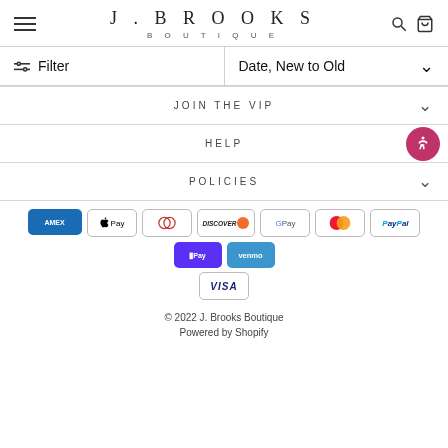J. BROOKS BOUTIQUE
Filter
Date, New to Old
JOIN THE VIP
HELP
POLICIES
[Figure (other): Payment method icons: American Express, Apple Pay, Diners Club, Discover, Google Pay, Mastercard, PayPal, Shop Pay, Venmo, Visa]
© 2022 J. Brooks Boutique
Powered by Shopify